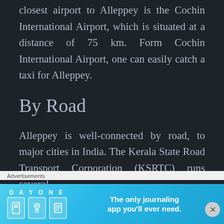closest airport to Alleppey is the Cochin International Airport, which is situated at a distance of 75 km. Form Cochin International Airport, one can easily catch a taxi for Alleppey.
By Road
Alleppey is well-connected by road, to major cities in India. The Kerala State Road Transport Corporation (KSRTC) runs several
Advertisements
[Figure (infographic): DAY ONE journaling app advertisement with icons and tagline: The only journaling app you'll ever need.]